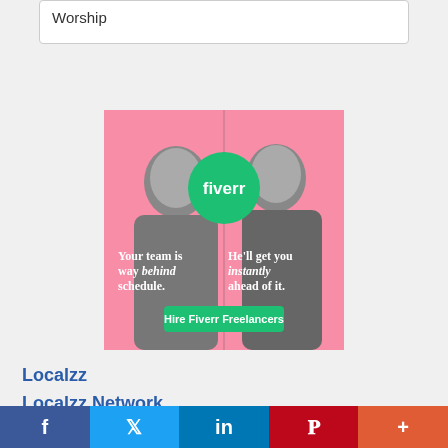Worship
[Figure (illustration): Fiverr advertisement showing two people back to back on a pink background with a green Fiverr logo circle. Text reads: 'Your team is way behind schedule. He'll get you instantly ahead of it.' with a green 'Hire Fiverr Freelancers' button.]
Localzz
Localzz Network
[Figure (infographic): Social media share bar with Facebook, Twitter, LinkedIn, Pinterest, and More (+) buttons]